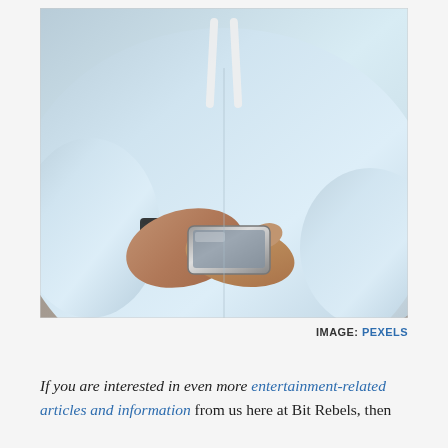[Figure (photo): Person wearing a light blue hoodie holding a smartphone in both hands, with a wristband visible, photographed from the chest down against a blurred background.]
IMAGE: PEXELS
If you are interested in even more entertainment-related articles and information from us here at Bit Rebels, then